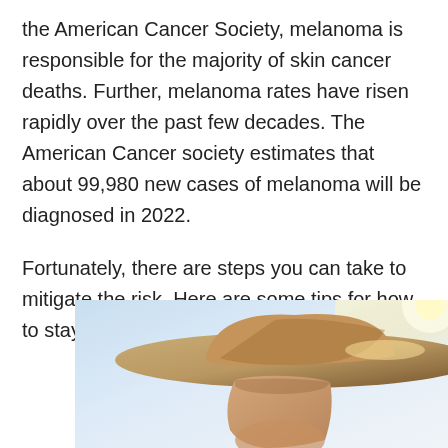the American Cancer Society, melanoma is responsible for the majority of skin cancer deaths. Further, melanoma rates have risen rapidly over the past few decades. The American Cancer society estimates that about 99,980 new cases of melanoma will be diagnosed in 2022.
Fortunately, there are steps you can take to mitigate the risk. Here are some tips for how to stay safe in the summer sun.
[Figure (photo): A person wearing a tan wide-brimmed hat, photographed against a bright sky with sun flare visible. The image is partially cropped showing the lower portion of the face and hat from a low angle.]